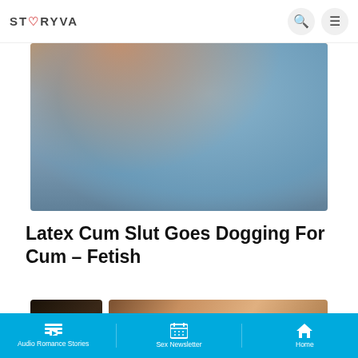STORYVA
[Figure (photo): Close-up photo of a person wearing a blue and white striped fabric/scarf draped over their body, with tan skin visible and a white railing in the background]
Latex Cum Slut Goes Dogging For Cum – Fetish
[Figure (photo): Two thumbnail images: left showing a dark story card with 'STORY' badge, right showing a woman with long hair against a warm-toned background with a forward arrow]
Audio Romance Stories | Sex Newsletter | Home